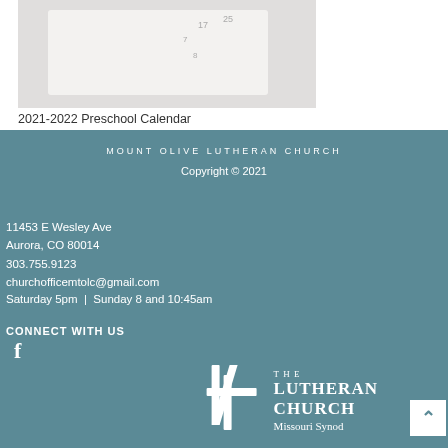[Figure (photo): Photo of a calendar or planner opened, with handwritten numbers visible on the pages, on a white surface.]
2021-2022 Preschool Calendar
MOUNT OLIVE LUTHERAN CHURCH
Copyright © 2021
11453 E Wesley Ave
Aurora, CO 80014
303.755.9123
churchofficemtolc@gmail.com
Saturday 5pm  |  Sunday 8 and 10:45am
CONNECT WITH US
[Figure (logo): Facebook logo icon (f) in white on teal background.]
[Figure (logo): The Lutheran Church Missouri Synod logo with cross and text in white.]